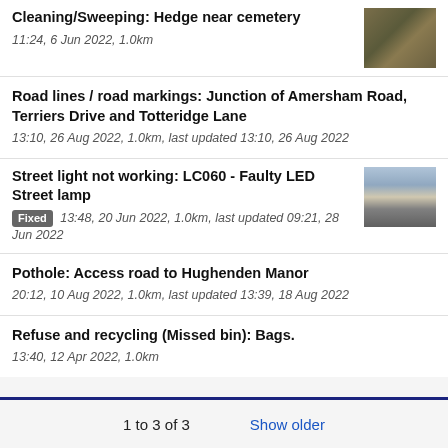Cleaning/Sweeping: Hedge near cemetery
11:24, 6 Jun 2022, 1.0km
Road lines / road markings: Junction of Amersham Road, Terriers Drive and Totteridge Lane
13:10, 26 Aug 2022, 1.0km, last updated 13:10, 26 Aug 2022
Street light not working: LC060 - Faulty LED Street lamp
Fixed 13:48, 20 Jun 2022, 1.0km, last updated 09:21, 28 Jun 2022
Pothole: Access road to Hughenden Manor
20:12, 10 Aug 2022, 1.0km, last updated 13:39, 18 Aug 2022
Refuse and recycling (Missed bin): Bags.
13:40, 12 Apr 2022, 1.0km
1 to 3 of 3
Show older